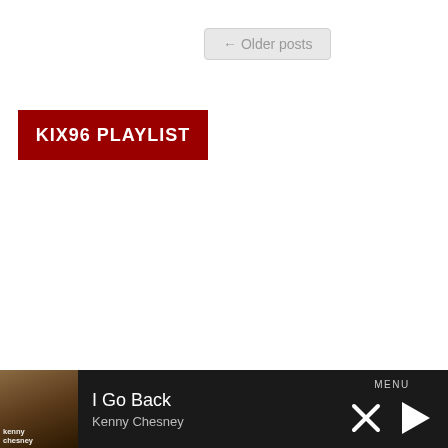← Older posts
KIX96 PLAYLIST
[Figure (screenshot): Music player bar at the bottom showing album art for Kenny Chesney, song title 'I Go Back', artist name 'Kenny Chesney', with MENU label, X close button, and play button.]